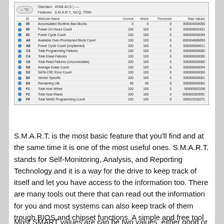[Figure (screenshot): CrystalDiskInfo-style S.M.A.R.T. table showing drive attributes including temperature badge, standard ATAB-ACS, features S.M.A.R.T./NCQ/TRIM, and columns ID, Attribute Name, Current, Worst, Threshold, Raw Values with 15 rows of data.]
S.M.A.R.T. is the most basic feature that you’ll find and at the same time it is one of the most useful ones. S.M.A.R.T. stands for Self-Monitoring, Analysis, and Reporting Technology and it is a way for the drive to keep track of itself and let you have access to the information too. There are many tools out there that can read out the information for you and most systems can also keep track of them trough BIOS and chipset functions. A simple and free tool to get access to the information is CrystalDiskInfo.
Most SMART values are can be two values, either good or